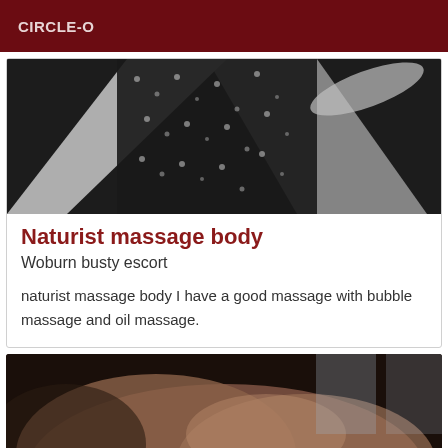CIRCLE-O
[Figure (photo): Black and white photo of fabric or textile with floral pattern]
Naturist massage body
Woburn busty escort
naturist massage body I have a good massage with bubble massage and oil massage.
[Figure (photo): Close-up photo of a person's back/shoulder in dim lighting]